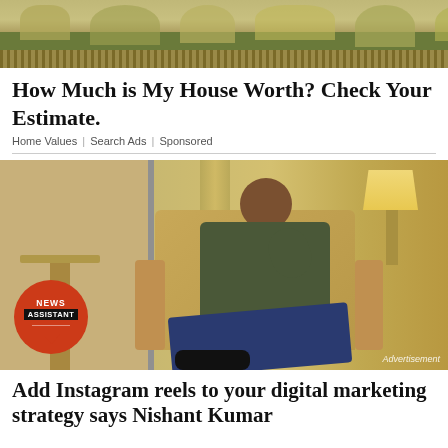[Figure (photo): Header image of a garden/landscaping scene with ornamental grasses and a paved walkway]
How Much is My House Worth? Check Your Estimate.
Home Values | Search Ads | Sponsored
[Figure (photo): Man sitting in a wooden armchair in a hotel room, thinking pose, with a lamp and curtains in the background. News Assistant badge in lower left corner. 'Advertisement' watermark bottom right.]
Add Instagram reels to your digital marketing strategy says Nishant Kumar